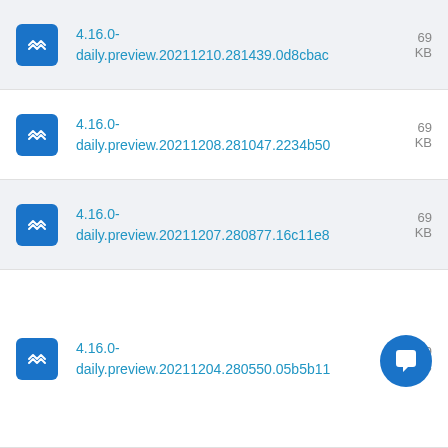4.16.0-daily.preview.20211210.281439.0d8cbac  69 KB
4.16.0-daily.preview.20211208.281047.2234b50  69 KB
4.16.0-daily.preview.20211207.280877.16c11e8  69 KB
4.16.0-daily.preview.20211204.280550.05b5b11  69 KB